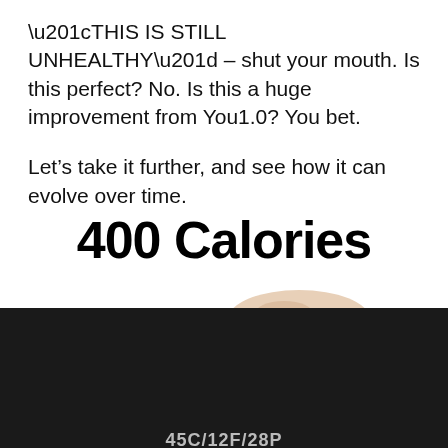“THIS IS STILL UNHEALTHY” – shut your mouth. Is this perfect? No. Is this a huge improvement from You1.0? You bet.
Let’s take it further, and see how it can evolve over time.
400 Calories
[Figure (photo): A latte or cappuccino in a clear glass with frothy milk on top, placed on a dark background, partially visible]
Privacy Preferences
I Agree
45C/12F/28P